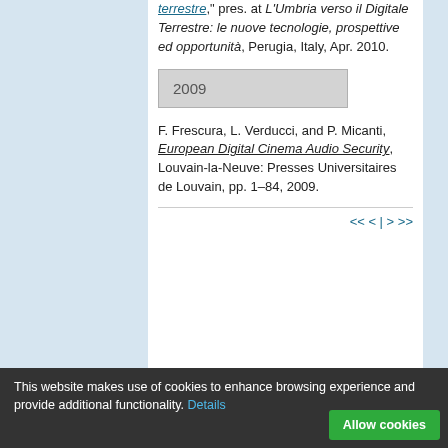terrestre," pres. at L'Umbria verso il Digitale Terrestre: le nuove tecnologie, prospettive ed opportunità, Perugia, Italy, Apr. 2010.
2009
F. Frescura, L. Verducci, and P. Micanti, European Digital Cinema Audio Security, Louvain-la-Neuve: Presses Universitaires de Louvain, pp. 1–84, 2009.
<< < | > >>
This website makes use of cookies to enhance browsing experience and provide additional functionality. Details